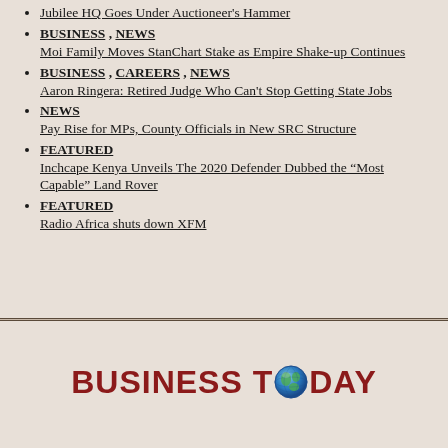Jubilee HQ Goes Under Auctioneer's Hammer
BUSINESS , NEWS
Moi Family Moves StanChart Stake as Empire Shake-up Continues
BUSINESS , CAREERS , NEWS
Aaron Ringera: Retired Judge Who Can't Stop Getting State Jobs
NEWS
Pay Rise for MPs, County Officials in New SRC Structure
FEATURED
Inchcape Kenya Unveils The 2020 Defender Dubbed the “Most Capable” Land Rover
FEATURED
Radio Africa shuts down XFM
BUSINESS TODAY